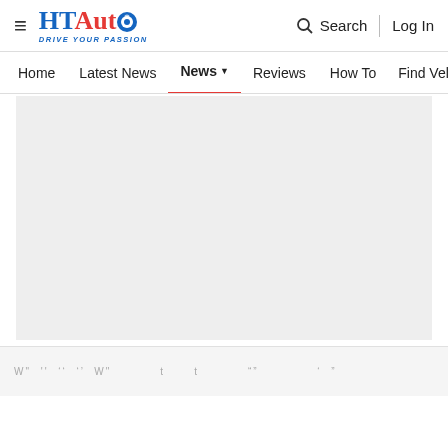HTAuto - Drive Your Passion | Search | Log In
Home | Latest News | News | Reviews | How To | Find Ve...
[Figure (other): Large grey placeholder image area]
...partial text visible at bottom of page...